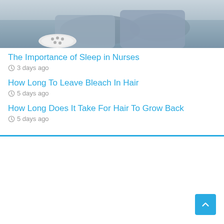[Figure (photo): Photo of a person lying on a grey sofa wearing grey pants and white Crocs-style shoes, legs visible in foreground]
The Importance of Sleep in Nurses
3 days ago
How Long To Leave Bleach In Hair
5 days ago
How Long Does It Take For Hair To Grow Back
5 days ago